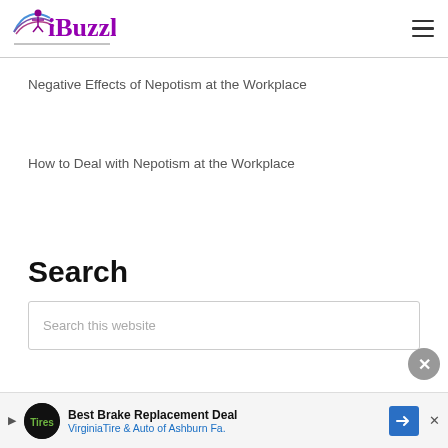iBuzzle
Negative Effects of Nepotism at the Workplace
How to Deal with Nepotism at the Workplace
Search
Search this website
[Figure (other): Close (X) button]
Best Brake Replacement Deal VirginiaTire & Auto of Ashburn Fa.